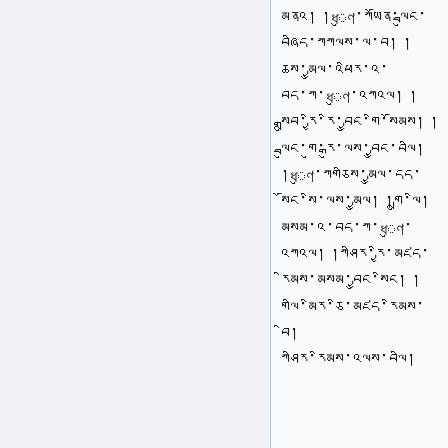མནའ། །ধুণ་ཀཡོན་ལྦུང་བཞིད་ཀཀལས་ལ་བ། །ཆས་མྱུལ་འཕིར་འ་བད་ཀ་ধুণ་འཀའལ། །སྒྲུབ་རྱི་རི་བྱུང་གི་སོམས། །ལྦུང་གུ་རྒུ་ལས་བྱུང་བལི།།ধুণ་ཀགཅིས་མྱུལ་དད་སོང་སི་ལས་མྱུལ།།|གྲུ་ལི། མསམ་འ་བད་ཀ་ধুণ་འཀའལ། །ཀཤིར་རྱི་མཛད་རིམས་མསམ་བྱུང་སིང་འལས་བལི། །གལི་མིར་ཅི་མཛད་རིམས་སིང་བི།